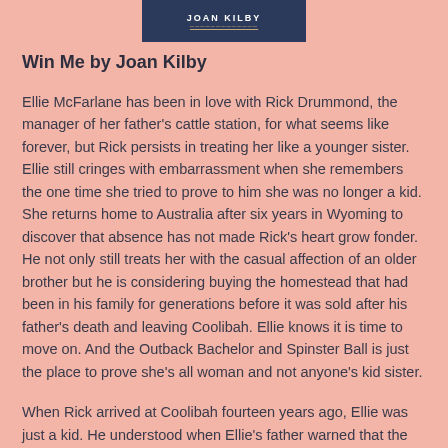[Figure (illustration): Book cover image showing author name 'JOAN KILBY' in white text on a dark navy blue background with a subtitle line beneath.]
Win Me by Joan Kilby
Ellie McFarlane has been in love with Rick Drummond, the manager of her father's cattle station, for what seems like forever, but Rick persists in treating her like a younger sister. Ellie still cringes with embarrassment when she remembers the one time she tried to prove to him she was no longer a kid. She returns home to Australia after six years in Wyoming to discover that absence has not made Rick's heart grow fonder. He not only still treats her with the casual affection of an older brother but he is considering buying the homestead that had been in his family for generations before it was sold after his father's death and leaving Coolibah. Ellie knows it is time to move on. And the Outback Bachelor and Spinster Ball is just the place to prove she's all woman and not anyone's kid sister.
When Rick arrived at Coolibah fourteen years ago, Ellie was just a kid. He understood when Ellie's father warned that the five years separating Rick and Ellie made her off limits. Even when Ellie or reached an adult. Rick fought it at this he...